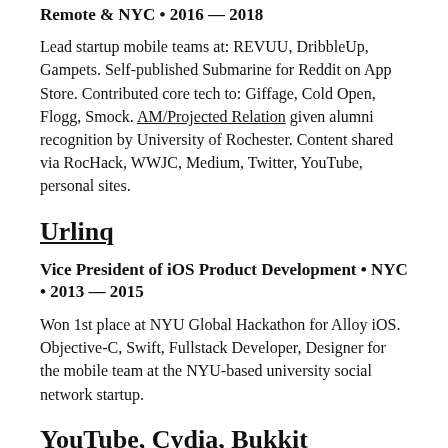Remote & NYC • 2016 — 2018
Lead startup mobile teams at: REVUU, DribbleUp, Gampets. Self-published Submarine for Reddit on App Store. Contributed core tech to: Giffage, Cold Open, Flogg, Smock. AM/Projected Relation given alumni recognition by University of Rochester. Content shared via RocHack, WWJC, Medium, Twitter, YouTube, personal sites.
Urlinq
Vice President of iOS Product Development • NYC • 2013 — 2015
Won 1st place at NYU Global Hackathon for Alloy iOS. Objective-C, Swift, Fullstack Developer, Designer for the mobile team at the NYU-based university social network startup.
YouTube, Cydia, Bukkit